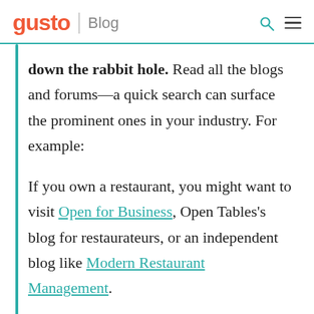gusto | Blog
down the rabbit hole. Read all the blogs and forums—a quick search can surface the prominent ones in your industry. For example:
If you own a restaurant, you might want to visit Open for Business, Open Tables's blog for restaurateurs, or an independent blog like Modern Restaurant Management.
If you run a creative business, you could check out the forums on